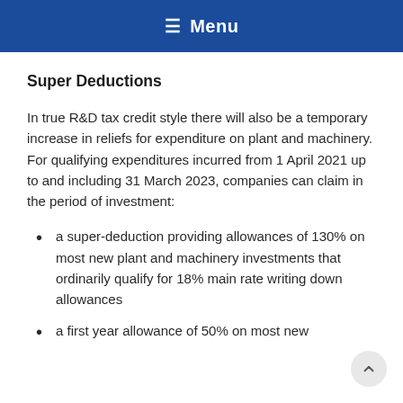☰ Menu
Super Deductions
In true R&D tax credit style there will also be a temporary increase in reliefs for expenditure on plant and machinery. For qualifying expenditures incurred from 1 April 2021 up to and including 31 March 2023, companies can claim in the period of investment:
a super-deduction providing allowances of 130% on most new plant and machinery investments that ordinarily qualify for 18% main rate writing down allowances
a first year allowance of 50% on most new